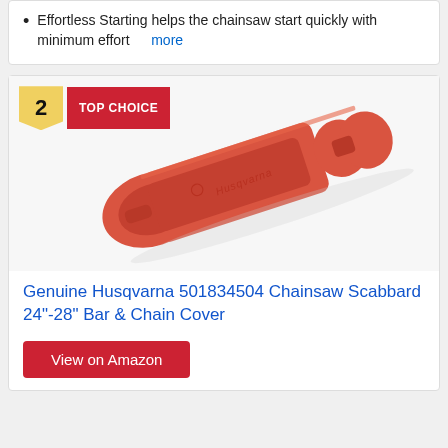Effortless Starting helps the chainsaw start quickly with minimum effort  more
[Figure (photo): Orange/red Husqvarna chainsaw bar and chain scabbard cover, elongated paddle shape with Husqvarna branding, on white background]
Genuine Husqvarna 501834504 Chainsaw Scabbard 24"-28" Bar & Chain Cover
View on Amazon